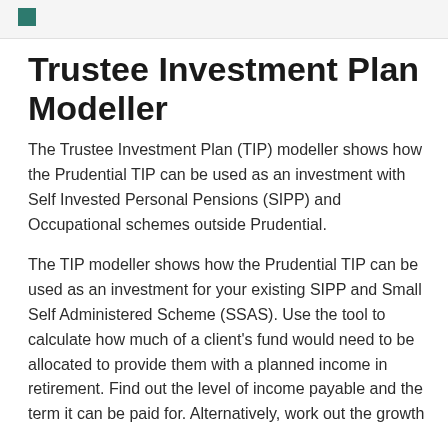Trustee Investment Plan Modeller
The Trustee Investment Plan (TIP) modeller shows how the Prudential TIP can be used as an investment with Self Invested Personal Pensions (SIPP) and Occupational schemes outside Prudential.
The TIP modeller shows how the Prudential TIP can be used as an investment for your existing SIPP and Small Self Administered Scheme (SSAS). Use the tool to calculate how much of a client's fund would need to be allocated to provide them with a planned income in retirement. Find out the level of income payable and the term it can be paid for. Alternatively, work out the growth